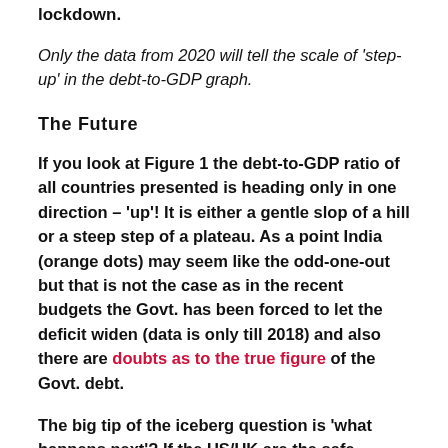lockdown.
Only the data from 2020 will tell the scale of ‘step-up’ in the debt-to-GDP graph.
The Future
If you look at Figure 1 the debt-to-GDP ratio of all countries presented is heading only in one direction – ‘up’! It is either a gentle slop of a hill or a steep step of a plateau. As a point India (orange dots) may seem like the odd-one-out but that is not the case as in the recent budgets the Govt. has been forced to let the deficit widen (data is only till 2018) and also there are doubts as to the true figure of the Govt. debt.
The big tip of the iceberg question is ‘what happens next’? If the US/UK are the safe-harbours what happens when they become less and less safe, especially after